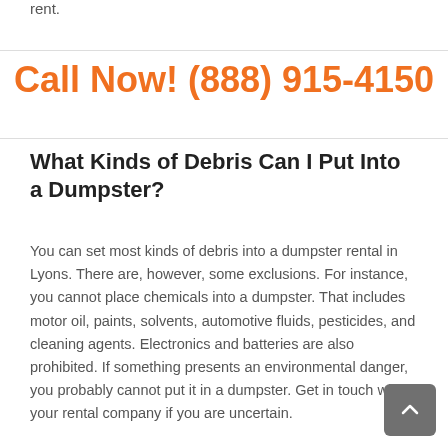rent.
Call Now! (888) 915-4150
What Kinds of Debris Can I Put Into a Dumpster?
You can set most kinds of debris into a dumpster rental in Lyons. There are, however, some exclusions. For instance, you cannot place chemicals into a dumpster. That includes motor oil, paints, solvents, automotive fluids, pesticides, and cleaning agents. Electronics and batteries are also prohibited. If something presents an environmental danger, you probably cannot put it in a dumpster. Get in touch with your rental company if you are uncertain.